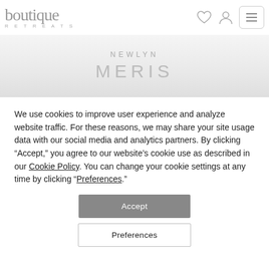boutique RETREATS
NEWLYN
MERIS
We use cookies to improve user experience and analyze website traffic. For these reasons, we may share your site usage data with our social media and analytics partners. By clicking “Accept,” you agree to our website’s cookie use as described in our Cookie Policy. You can change your cookie settings at any time by clicking “Preferences.”
Accept
Preferences